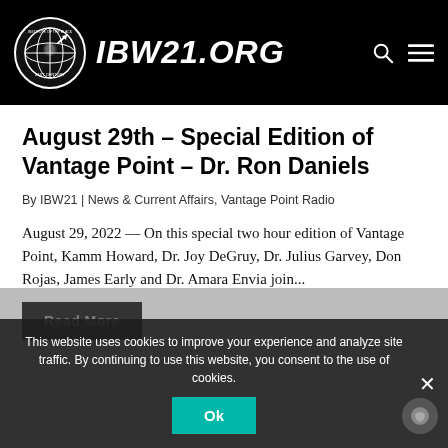IBW21.ORG
August 29th – Special Edition of Vantage Point – Dr. Ron Daniels
By IBW21 | News & Current Affairs, Vantage Point Radio
August 29, 2022 — On this special two hour edition of Vantage Point, Kamm Howard, Dr. Joy DeGruy, Dr. Julius Garvey, Don Rojas, James Early and Dr. Amara Envia join...
Read More
This website uses cookies to improve your experience and analyze site traffic. By continuing to use this website, you consent to the use of cookies.
Ok